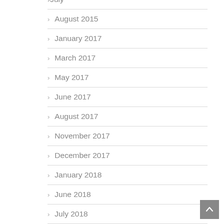August 2015
January 2017
March 2017
May 2017
June 2017
August 2017
November 2017
December 2017
January 2018
June 2018
July 2018